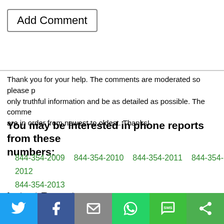Add Comment
Thank you for your help. The comments are moderated so please p... only truthful information and be as detailed as possible. The comme... are in order from newest to oldest. Thanks!
You may be interested in phone reports from these numbers:
844-354-2009  844-354-2010  844-354-2011  844-354-2012  844-354-2013
Latest Reports
418-391-7463   Aug 29, 2022
418-391-7463: Texted
306-450-7562   Aug 29, 2022
306-450-7562: Inquired h o t e l
[Figure (infographic): Social sharing bar with Twitter, Facebook, Email, WhatsApp, SMS, and Share buttons]